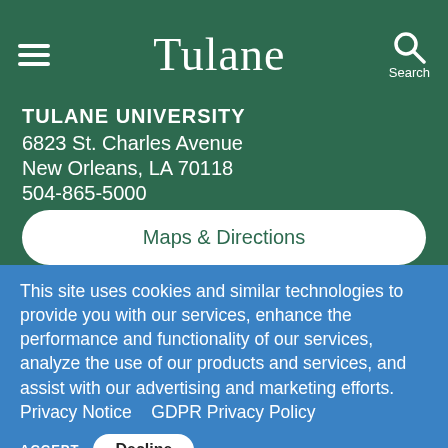Tulane
TULANE UNIVERSITY
6823 St. Charles Avenue
New Orleans, LA 70118
504-865-5000
Maps & Directions
This site uses cookies and similar technologies to provide you with our services, enhance the performance and functionality of our services, analyze the use of our products and services, and assist with our advertising and marketing efforts. Privacy Notice  GDPR Privacy Policy
ACCEPT  Decline